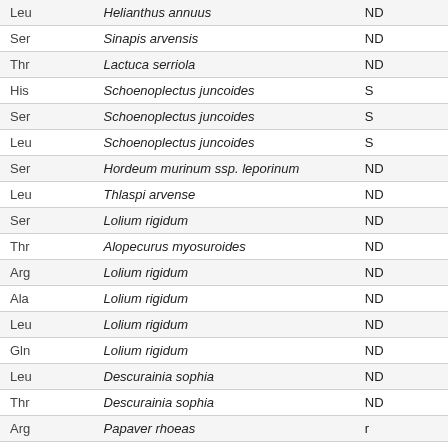|  |  |  |
| --- | --- | --- |
| Leu | Helianthus annuus | ND |
| Ser | Sinapis arvensis | ND |
| Thr | Lactuca serriola | ND |
| His | Schoenoplectus juncoides | S |
| Ser | Schoenoplectus juncoides | S |
| Leu | Schoenoplectus juncoides | S |
| Ser | Hordeum murinum ssp. leporinum | ND |
| Leu | Thlaspi arvense | ND |
| Ser | Lolium rigidum | ND |
| Thr | Alopecurus myosuroides | ND |
| Arg | Lolium rigidum | ND |
| Ala | Lolium rigidum | ND |
| Leu | Lolium rigidum | ND |
| Gln | Lolium rigidum | ND |
| Leu | Descurainia sophia | ND |
| Thr | Descurainia sophia | ND |
| Arg | Papaver rhoeas | r |
| Leu | Papaver rhoeas | ND |
| Ala | Papaver rhoeas | r |